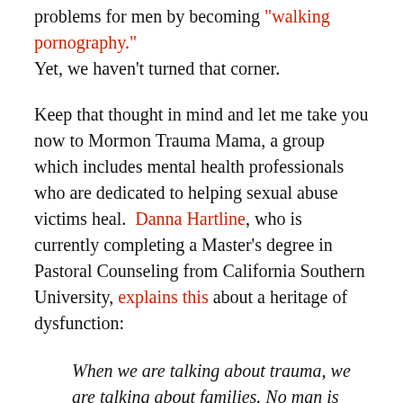problems for men by becoming "walking pornography." Yet, we haven't turned that corner.
Keep that thought in mind and let me take you now to Mormon Trauma Mama, a group which includes mental health professionals who are dedicated to helping sexual abuse victims heal. Danna Hartline, who is currently completing a Master's degree in Pastoral Counseling from California Southern University, explains this about a heritage of dysfunction:
When we are talking about trauma, we are talking about families. No man is an island. When you hit a mother, you hit a family. And this is often generational. If we are honest and are careful to not